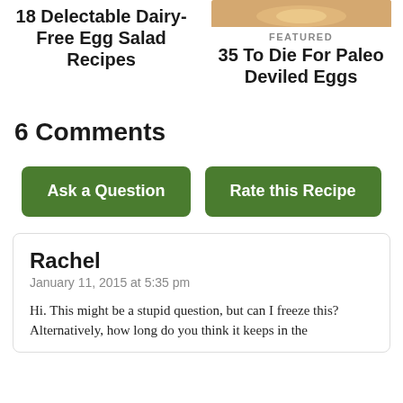18 Delectable Dairy-Free Egg Salad Recipes
[Figure (photo): Photo of deviled eggs on a plate]
FEATURED
35 To Die For Paleo Deviled Eggs
6 Comments
Ask a Question
Rate this Recipe
Rachel
January 11, 2015 at 5:35 pm
Hi. This might be a stupid question, but can I freeze this? Alternatively, how long do you think it keeps in the